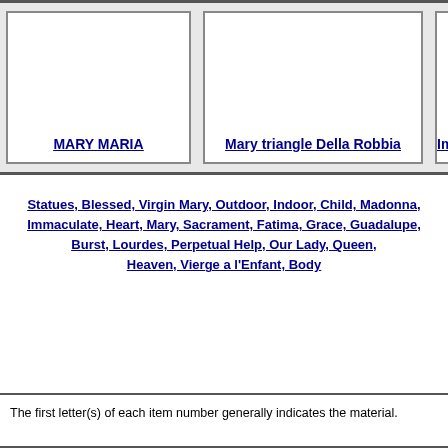[Figure (other): A table row showing product image cells: MARY MARIA, Mary triangle Della Robbia, and a partially visible third item labeled Im...]
Statues, Blessed, Virgin Mary, Outdoor, Indoor, Child, Madonna, Immaculate, Heart, Mary, Sacrament, Fatima, Grace, Guadalupe, Burst, Lourdes, Perpetual Help, Our Lady, Queen, Heaven, Vierge a l'Enfant, Body
The first letter(s) of each item number generally indicates the material.